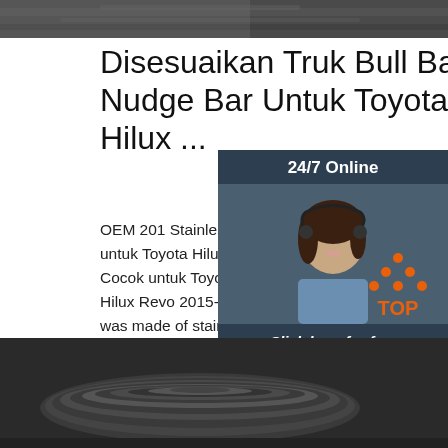[Figure (photo): Close-up of metallic steel bars or rails on a dark background — top banner image]
Disesuaikan Truk Bull Bar Nudge Bar Untuk Toyota Hilux ...
OEM 201 Stainless Steel Bull Bar Nudge Bar untuk Toyota Hilux Vigo Revo RAV4 Fortuner. Cocok untuk Toyota Hilux Vigo 2002-2015, Hilux Revo 2015-2017! Deskripsi: The bull bar was made of stainless steel material which well protect your car.
[Figure (illustration): 24/7 Online chat widget with dark blue background, photo of a woman with headset smiling, 'Click here for free chat!' text, and orange QUOTATION button]
[Figure (logo): TOP logo with orange triangle dots arrangement and orange text 'TOP']
Get Price
[Figure (photo): Bottom photo showing coiled or rolled dark steel strips/sheets in an industrial setting]